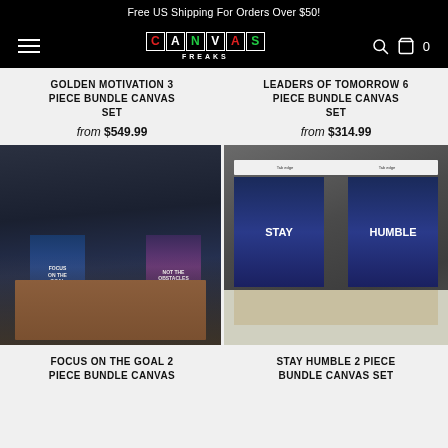Free US Shipping For Orders Over $50!
[Figure (logo): Canvas Freaks logo with colored letter blocks on black navigation bar]
GOLDEN MOTIVATION 3 PIECE BUNDLE CANVAS SET
from $549.99
LEADERS OF TOMORROW 6 PIECE BUNDLE CANVAS SET
from $314.99
[Figure (photo): Dark modern conference room with motivational canvas prints 'Focus On The Goal' and 'Not The Obstacles' on wall behind wooden table with white chairs]
[Figure (photo): Gray modern office desk setup with motivational canvas prints 'Stay' and 'Humble' showing city skyline at night]
FOCUS ON THE GOAL 2 PIECE BUNDLE CANVAS
STAY HUMBLE 2 PIECE BUNDLE CANVAS SET